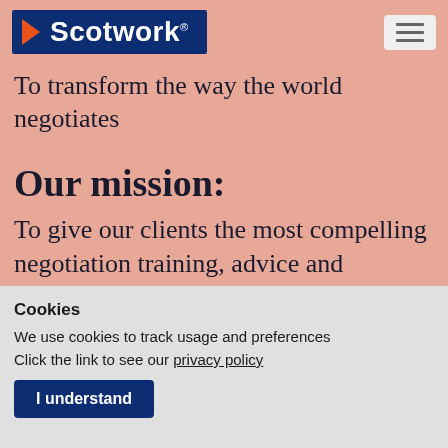Scotwork
To transform the way the world negotiates
Our mission:
To give our clients the most compelling negotiation training, advice and coaching
Cookies
We use cookies to track usage and preferences
Click the link to see our privacy policy
I understand